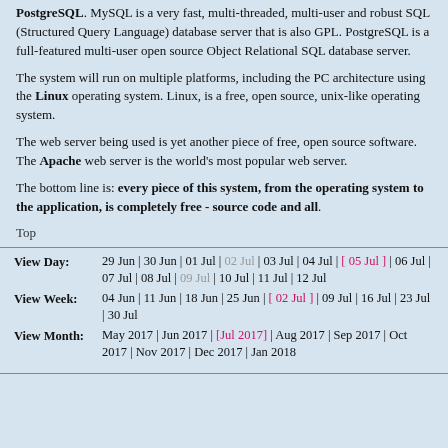PostgreSQL. MySQL is a very fast, multi-threaded, multi-user and robust SQL (Structured Query Language) database server that is also GPL. PostgreSQL is a full-featured multi-user open source Object Relational SQL database server.
The system will run on multiple platforms, including the PC architecture using the Linux operating system. Linux, is a free, open source, unix-like operating system.
The web server being used is yet another piece of free, open source software. The Apache web server is the world's most popular web server.
The bottom line is: every piece of this system, from the operating system to the application, is completely free - source code and all.
Top
View Day: 29 Jun | 30 Jun | 01 Jul | 02 Jul | 03 Jul | 04 Jul | [ 05 Jul ] | 06 Jul | 07 Jul | 08 Jul | 09 Jul | 10 Jul | 11 Jul | 12 Jul
View Week: 04 Jun | 11 Jun | 18 Jun | 25 Jun | [ 02 Jul ] | 09 Jul | 16 Jul | 23 Jul | 30 Jul
View Month: May 2017 | Jun 2017 | [Jul 2017] | Aug 2017 | Sep 2017 | Oct 2017 | Nov 2017 | Dec 2017 | Jan 2018